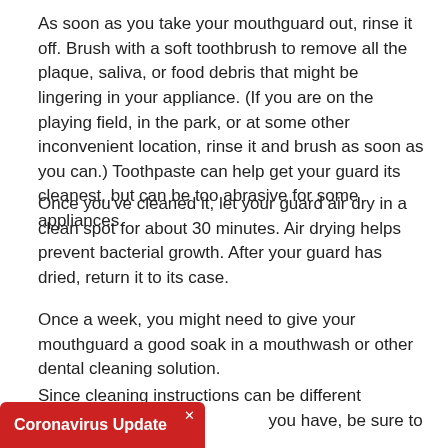As soon as you take your mouthguard out, rinse it off. Brush with a soft toothbrush to remove all the plaque, saliva, or food debris that might be lingering in your appliance. (If you are on the playing field, in the park, or at some other inconvenient location, rinse it and brush as soon as you can.) Toothpaste can help get your guard its cleanest, but can be too abrasive for some appliances.
Once you've cleaned it, let your guard air dry in a clean spot for about 30 minutes. Air drying helps prevent bacterial growth. After your guard has dried, return it to its case.
Once a week, you might need to give your mouthguard a good soak in a mouthwash or other dental cleaning solution.
Since cleaning instructions can be different depending on [the type of appliance] you have, be sure to follow our [recommendations and your direct...]
[Figure (other): Coronavirus Update red banner overlay at bottom left with close X button]